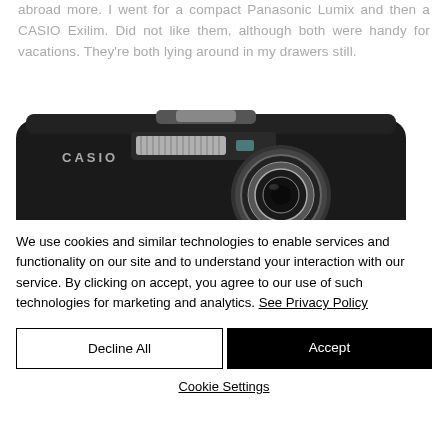abroad more. I went for a compact Panasonic Lumix and then a CASIO Exilim. Did not like them, although both were handy for vacations. They're both lying around in my drawers still.
[Figure (photo): A black CASIO Exilim compact digital camera, top-front view showing the lens, viewfinder, and flash, set against a white background.]
We use cookies and similar technologies to enable services and functionality on our site and to understand your interaction with our service. By clicking on accept, you agree to our use of such technologies for marketing and analytics. See Privacy Policy
Decline All
Accept
Cookie Settings